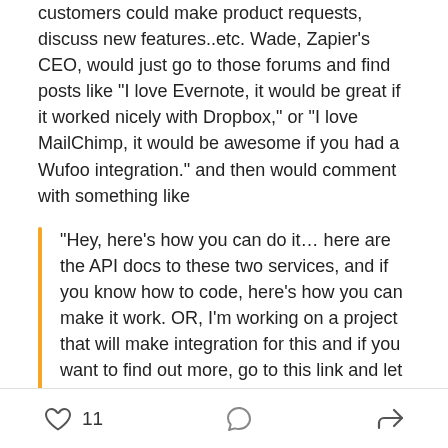customers could make product requests, discuss new features..etc. Wade, Zapier's CEO, would just go to those forums and find posts like “I love Evernote, it would be great if it worked nicely with Dropbox,” or “I love MailChimp, it would be awesome if you had a Wufoo integration.” and then would comment with something like
“Hey, here’s how you can do it… here are the API docs to these two services, and if you know how to code, here’s how you can make it work. OR, I’m working on a project that will make integration for this and if you want to find out more, go to this link and let me know.”
11